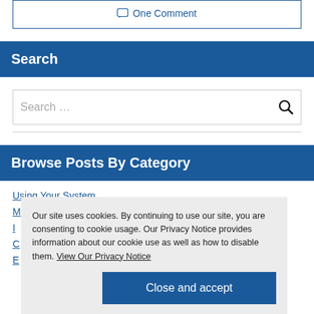One Comment
Search
Search ...
Browse Posts By Category
Using Your System
Our site uses cookies. By continuing to use our site, you are consenting to cookie usage. Our Privacy Notice provides information about our cookie use as well as how to disable them. View Our Privacy Notice
Close and accept